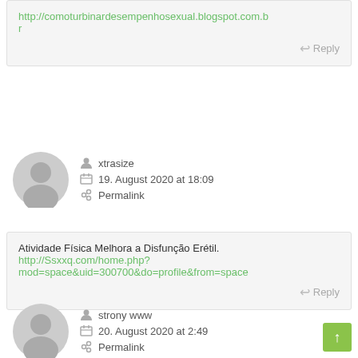http://comoturbinardesempenhosexual.blogspot.com.br
Reply
xtrasize
19. August 2020 at 18:09
Permalink
Atividade Física Melhora a Disfunção Erétil.
http://Ssxxq.com/home.php?mod=space&uid=300700&do=profile&from=space
Reply
strony www
20. August 2020 at 2:49
Permalink